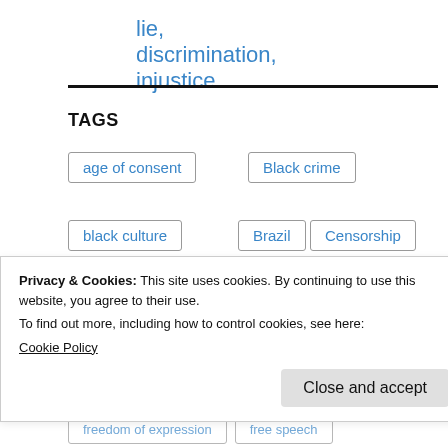lie, discrimination, injustice
TAGS
age of consent
Black crime
black culture
Brazil
Censorship
child-porn
child abuse
Privacy & Cookies: This site uses cookies. By continuing to use this website, you agree to their use. To find out more, including how to control cookies, see here: Cookie Policy
Close and accept